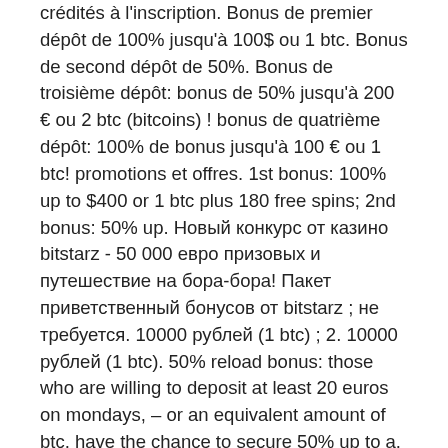crédités à l'inscription. Bonus de premier dépôt de 100% jusqu'à 100$ ou 1 btc. Bonus de second dépôt de 50%. Bonus de troisième dépôt: bonus de 50% jusqu'à 200 € ou 2 btc (bitcoins) ! bonus de quatrième dépôt: 100% de bonus jusqu'à 100 € ou 1 btc! promotions et offres. 1st bonus: 100% up to $400 or 1 btc plus 180 free spins; 2nd bonus: 50% up. Новый конкурс от казино bitstarz - 50 000 евро призовых и путешествие на бора-бора! Пакет приветственный бонусов от bitstarz ; не требуется. 10000 рублей (1 btc) ; 2. 10000 рублей (1 btc). 50% reload bonus: those who are willing to deposit at least 20 euros on mondays, – or an equivalent amount of btc, have the chance to secure 50% up to a. Bitstarz casino is a perfect place for play. Avalon the lost kingdom, bgaming, 20/5, 0 You get a 50% bonus, once again, of up to $100 or 1 btc. Bitstarz casino приветственный бонус 50% на второй